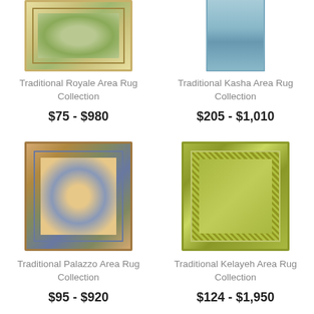[Figure (photo): Traditional Royale Area Rug — green and cream floral Persian-style rug]
Traditional Royale Area Rug Collection
$75 - $980
[Figure (photo): Traditional Kasha Area Rug — light blue runner rug]
Traditional Kasha Area Rug Collection
$205 - $1,010
[Figure (photo): Traditional Palazzo Area Rug — multicolor traditional Persian-style rug]
Traditional Palazzo Area Rug Collection
$95 - $920
[Figure (photo): Traditional Kelayeh Area Rug — olive green traditional area rug]
Traditional Kelayeh Area Rug Collection
$124 - $1,950